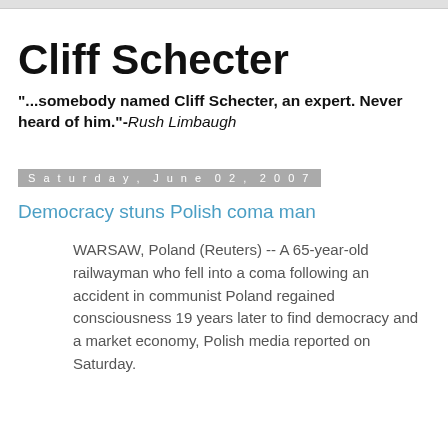Cliff Schecter
"...somebody named Cliff Schecter, an expert. Never heard of him."-Rush Limbaugh
Saturday, June 02, 2007
Democracy stuns Polish coma man
WARSAW, Poland (Reuters) -- A 65-year-old railwayman who fell into a coma following an accident in communist Poland regained consciousness 19 years later to find democracy and a market economy, Polish media reported on Saturday.